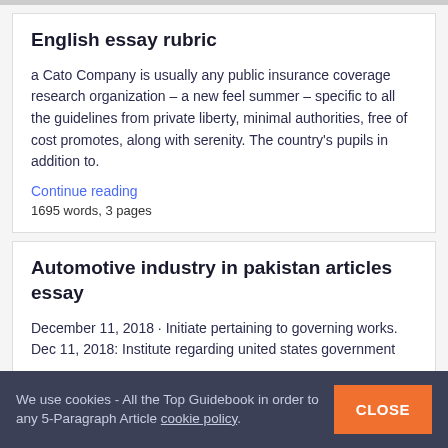English essay rubric
a Cato Company is usually any public insurance coverage research organization – a new feel summer – specific to all the guidelines from private liberty, minimal authorities, free of cost promotes, along with serenity. The country's pupils in addition to.
Continue reading
1695 words, 3 pages
Automotive industry in pakistan articles essay
December 11, 2018 · Initiate pertaining to governing works. Dec 11, 2018: Institute regarding united states government
We use cookies - All the Top Guidebook in order to any 5-Paragraph Article cookie policy